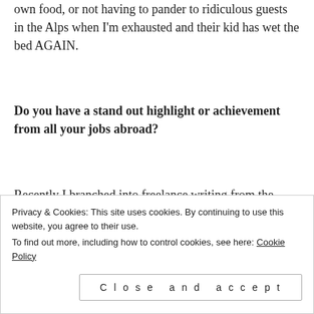own food, or not having to pander to ridiculous guests in the Alps when I'm exhausted and their kid has wet the bed AGAIN.
Do you have a stand out highlight or achievement from all your jobs abroad?
Recently I branched into freelance writing from the cheap base of Thailand- and after two months I'm earning enough now to support myself in Australia. This is a huge deal for me
Privacy & Cookies: This site uses cookies. By continuing to use this website, you agree to their use.
To find out more, including how to control cookies, see here: Cookie Policy